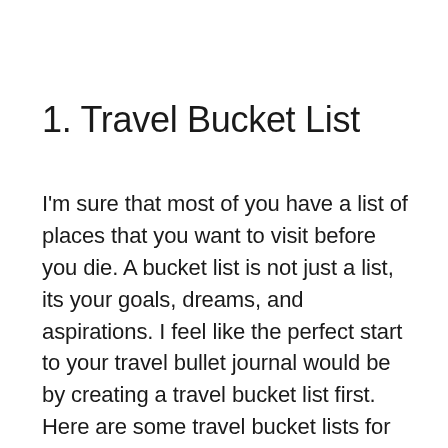1. Travel Bucket List
I'm sure that most of you have a list of places that you want to visit before you die. A bucket list is not just a list, its your goals, dreams, and aspirations. I feel like the perfect start to your travel bullet journal would be by creating a travel bucket list first. Here are some travel bucket lists for your bullet journal.